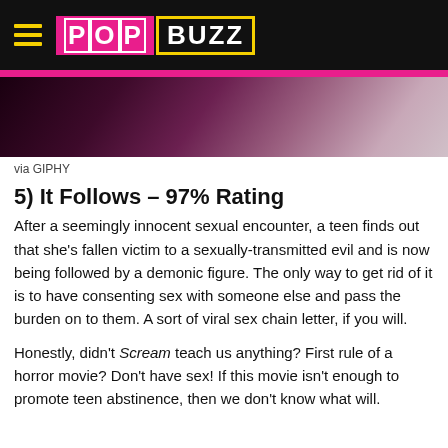PopBuzz
[Figure (photo): Dark purple-toned image, partially visible, appears to show a figure in white against a dark background with flowers]
via GIPHY
5) It Follows – 97% Rating
After a seemingly innocent sexual encounter, a teen finds out that she's fallen victim to a sexually-transmitted evil and is now being followed by a demonic figure. The only way to get rid of it is to have consenting sex with someone else and pass the burden on to them. A sort of viral sex chain letter, if you will.
Honestly, didn't Scream teach us anything? First rule of a horror movie? Don't have sex! If this movie isn't enough to promote teen abstinence, then we don't know what will.